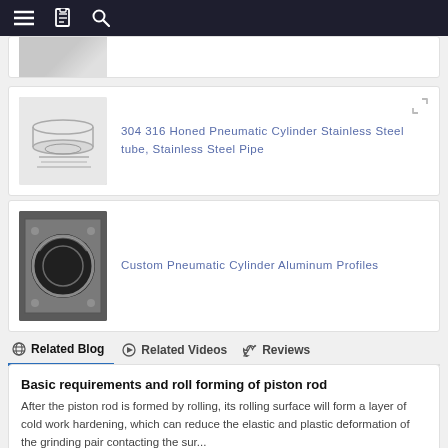Navigation bar with menu, bookmark, and search icons
[Figure (photo): Partial product card cropped at top showing a metallic component image]
[Figure (photo): 304 316 Honed Pneumatic Cylinder Stainless Steel tube, Stainless Steel Pipe - product image showing silver metallic tubes/rods]
304 316 Honed Pneumatic Cylinder Stainless Steel tube, Stainless Steel Pipe
[Figure (photo): Custom Pneumatic Cylinder Aluminum Profiles - product image showing circular aluminum extrusion profile]
Custom Pneumatic Cylinder Aluminum Profiles
Related Blog   Related Videos   Reviews
Basic requirements and roll forming of piston rod
After the piston rod is formed by rolling, its rolling surface will form a layer of cold work hardening, which can reduce the elastic and plastic deformation of the grinding pair contacting the sur...